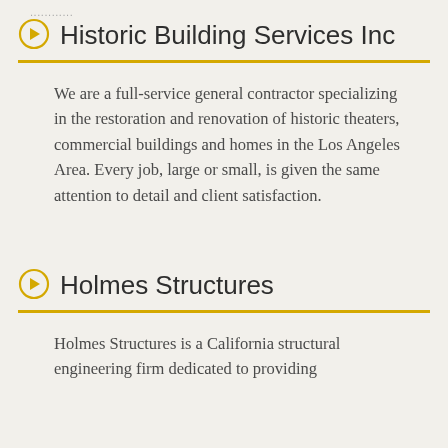...........
Historic Building Services Inc
We are a full-service general contractor specializing in the restoration and renovation of historic theaters, commercial buildings and homes in the Los Angeles Area. Every job, large or small, is given the same attention to detail and client satisfaction.
Holmes Structures
Holmes Structures is a California structural engineering firm dedicated to providing